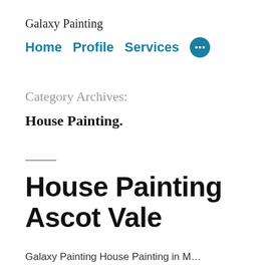Galaxy Painting
Home  Profile  Services  …
Category Archives:
House Painting.
House Painting Ascot Vale
Galaxy Painting House Painting in M…